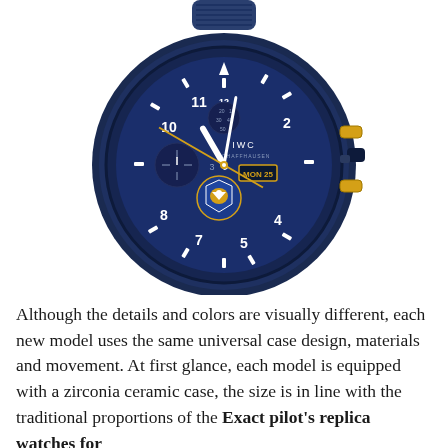[Figure (photo): A blue ceramic IWC pilot chronograph watch with blue dial, yellow second hand, yellow/gold crown accents, white hour markers and numerals, small sub-dials, date window showing MON 25, and a Blue Angels-style squadron logo at approximately 6 o'clock. The watch has a blue textile strap.]
Although the details and colors are visually different, each new model uses the same universal case design, materials and movement. At first glance, each model is equipped with a zirconia ceramic case, the size is in line with the traditional proportions of the Exact pilot's replica watches for